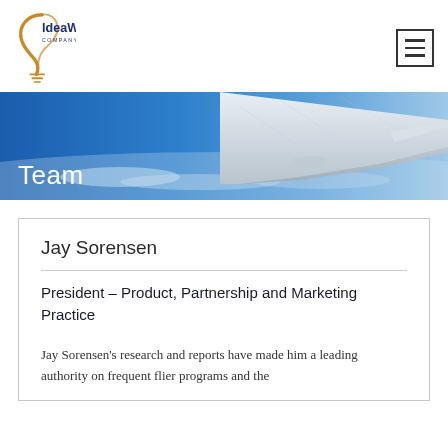IdeaWorks COMPANY.COM
[Figure (illustration): Airplane wing viewed from window against blue sky, used as hero banner background image]
Team
Jay Sorensen
President – Product, Partnership and Marketing Practice
Jay Sorensen's research and reports have made him a leading authority on frequent flier programs and the